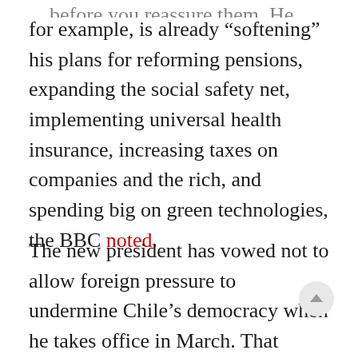for example, is already “softening” his plans for reforming pensions, expanding the social safety net, implementing universal health insurance, increasing taxes on companies and the rich, and spending big on green technologies, the BBC noted.
The new president has vowed not to allow foreign pressure to undermine Chile’s democracy when he takes office in March. That might